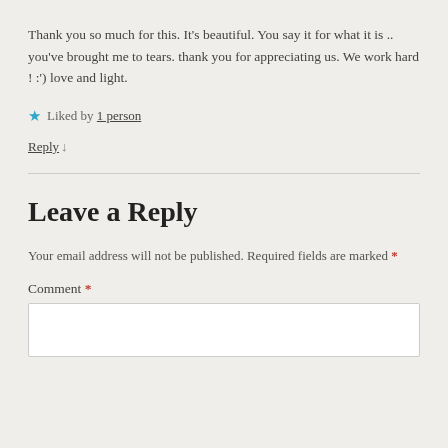Thank you so much for this. It's beautiful. You say it for what it is .. you've brought me to tears. thank you for appreciating us. We work hard ! :') love and light.
★ Liked by 1 person
Reply ↓
Leave a Reply
Your email address will not be published. Required fields are marked *
Comment *